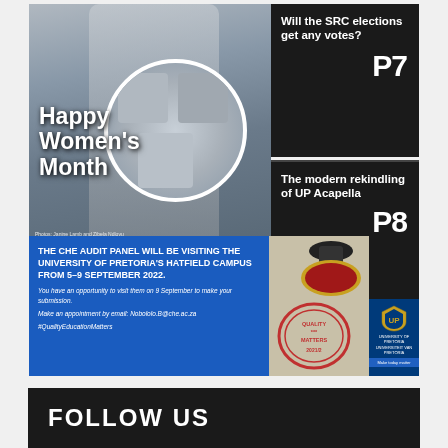[Figure (infographic): University newspaper/magazine cover page. Left side shows a photo of a woman in white with a circular photo collage overlay. Text reads 'Happy Women's Month'. Right sidebar has three black teaser boxes: 'Will the SRC elections get any votes? P7', 'The modern rekindling of UP Acapella P8', 'Featured athlete: Gandhi Jafta P12'. Bottom left has a blue CHE Audit Panel announcement. Bottom right shows a quality matters stamp and University of Pretoria logo.]
FOLLOW US